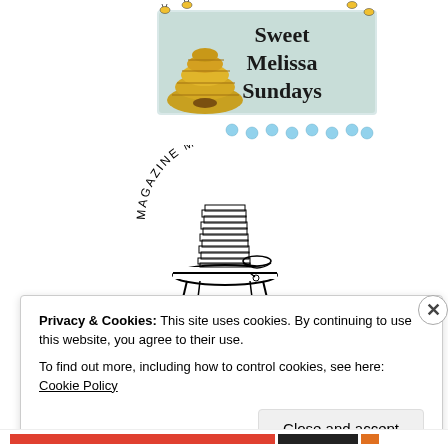[Figure (logo): Sweet Melissa Sundays banner logo with bees and a beehive illustration on a light background with text 'Sweet Melissa Sundays']
[Figure (logo): Magazine Mondays logo showing a stack of magazines/books on a small table with a bowl, text 'MAGAZINE MONDAYS' curved at top]
Privacy & Cookies: This site uses cookies. By continuing to use this website, you agree to their use.
To find out more, including how to control cookies, see here: Cookie Policy
Close and accept